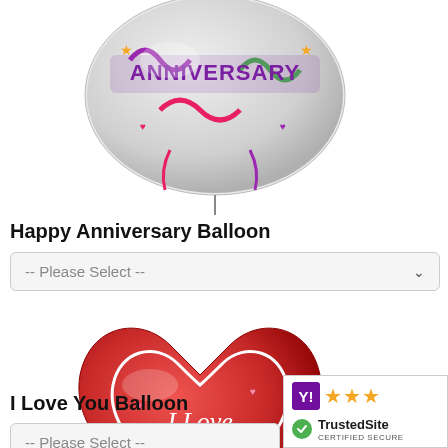[Figure (photo): Happy Anniversary round foil balloon with colorful confetti and streamers decoration]
Happy Anniversary Balloon
[Figure (other): Dropdown select box with placeholder text -- Please Select --]
[Figure (photo): I Love You heart-shaped red foil balloon with script text and heart decorations]
I Love You Balloon
[Figure (other): Trustmark badge with Yahoo shopping stars rating and date Aug 31, 202x]
[Figure (other): Dropdown select box with placeholder text -- Please Select --]
[Figure (other): TrustedSite CERTIFIED SECURE badge]